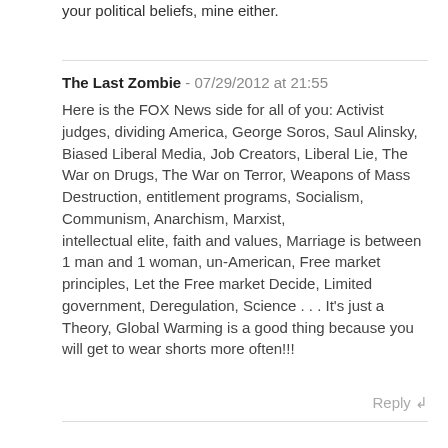your political beliefs, mine either.
The Last Zombie - 07/29/2012 at 21:55
Here is the FOX News side for all of you: Activist judges, dividing America, George Soros, Saul Alinsky, Biased Liberal Media, Job Creators, Liberal Lie, The War on Drugs, The War on Terror, Weapons of Mass Destruction, entitlement programs, Socialism, Communism, Anarchism, Marxist,
intellectual elite, faith and values, Marriage is between 1 man and 1 woman, un-American, Free market principles, Let the Free market Decide, Limited government, Deregulation, Science . . . It's just a Theory, Global Warming is a good thing because you will get to wear shorts more often!!!
Reply ↲